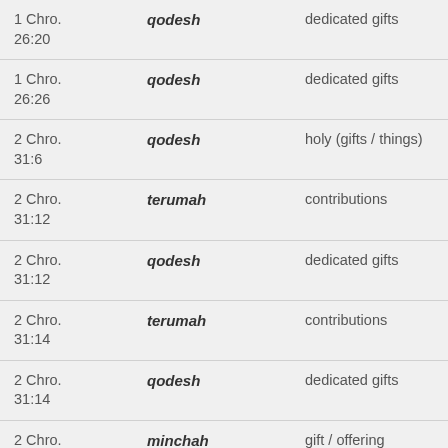| 1 Chro. 26:20 | qodesh | dedicated gifts |
| 1 Chro. 26:26 | qodesh | dedicated gifts |
| 2 Chro. 31:6 | qodesh | holy (gifts / things) |
| 2 Chro. 31:12 | terumah | contributions |
| 2 Chro. 31:12 | qodesh | dedicated gifts |
| 2 Chro. 31:14 | terumah | contributions |
| 2 Chro. 31:14 | qodesh | dedicated gifts |
| 2 Chro. 32:23 | minchah | gift / offering |